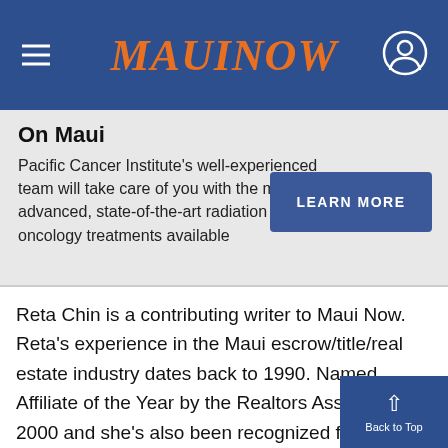MAUI NOW
On Maui
Pacific Cancer Institute's well-experienced team will take care of you with the most advanced, state-of-the-art radiation oncology treatments available
Reta Chin is a contributing writer to Maui Now. Reta's experience in the Maui escrow/title/real estate industry dates back to 1990. Named Affiliate of the Year by the Realtors Association in 2000 and she's also been recognized for sales awards in her career. Fidelity National Title is recognized as the leader in the industry, ranked 303 in the Fortune 500. Fie the highest rated and largest title insurance co